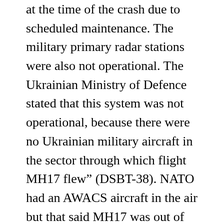at the time of the crash due to scheduled maintenance. The military primary radar stations were also not operational. The Ukrainian Ministry of Defence stated that this system was not operational, because there were no Ukrainian military aircraft in the sector through which flight MH17 flew” (DSBT-38). NATO had an AWACS aircraft in the air but that said MH17 was out of its range (DSBT-44). Thus only limited radar information was available from Ukraine and nothing from NATO.
This is not believable. Ignoring the “scheduled maintenance” stuff, the Ukrainian Ministry of Defence statement that there were no military aircraft in the area is contradicted when DSBT-185 informs us that Kiev